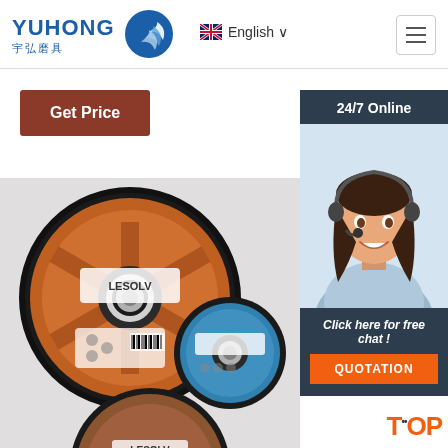[Figure (logo): YUHONG logo with blue wave icon and Chinese text 宇弘磨具]
English ∨
[Figure (other): Hamburger menu icon (three horizontal lines)]
Get Price
24/7 Online
[Figure (photo): Female customer service agent wearing headset, smiling]
Click here for free chat !
QUOTATION
[Figure (photo): Product image showing abrasive cutting/grinding discs - one large orange/brown disc with YUHONG branding, one smaller blue disc, and a partial brown disc at bottom]
TOP